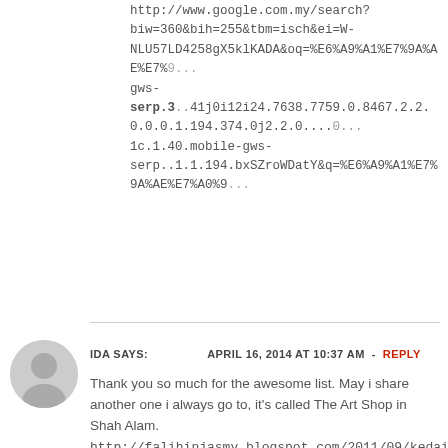http://www.google.com.my/search?biw=360&bih=255&tbm=isch&ei=W-NLU57LD4258gX5klKADA&oq=%E6%A9%A1%E7%9A%AE%E7%A0%9... gws-serp.3..41j0i12i24.7638.7759.0.8467.2.2.0.0.0.1.194.374.0j2.2.0....0...1c.1.40.mobile-gws-serp..1.1.194.bxSZroWDatY&q=%E6%A9%A1%E7%9A%AE%E7%A0%9...
IDA SAYS: APRIL 16, 2014 AT 10:37 AM - REPLY
Thank you so much for the awesome list. May i share another one i always go to, it's called The Art Shop in Shah Alam. http://falihinjasmy.blogspot.com/2011/09/kedai-alat-tulis-terbesar-west-star.html
HAZE LONG SAYS: APRIL 19, 2014 AT 1:34 AM - REPLY